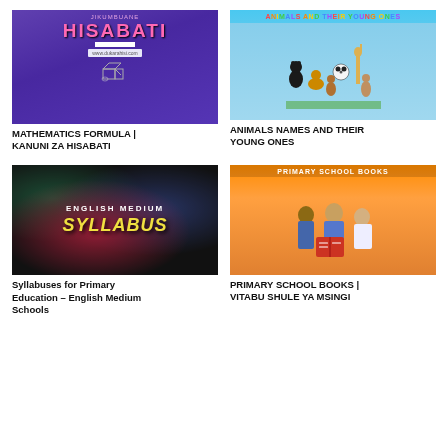[Figure (illustration): Book cover for HISABATI (Mathematics Formula) with purple background, pink stylized text, geometric shapes, and website url www.dukarahisi.com]
MATHEMATICS FORMULA | KANUNI ZA HISABATI
[Figure (illustration): Book cover for Animals and Their Young Ones with blue sky background and various animal illustrations]
ANIMALS NAMES AND THEIR YOUNG ONES
[Figure (illustration): Book cover for English Medium Syllabus with dark background, nebula/galaxy imagery, white ENGLISH MEDIUM text and yellow SYLLABUS text]
Syllabuses for Primary Education – English Medium Schools
[Figure (illustration): Book cover for Primary School Books showing students reading together with orange background and PRIMARY SCHOOL BOOKS text at top]
PRIMARY SCHOOL BOOKS | VITABU SHULE YA MSINGI